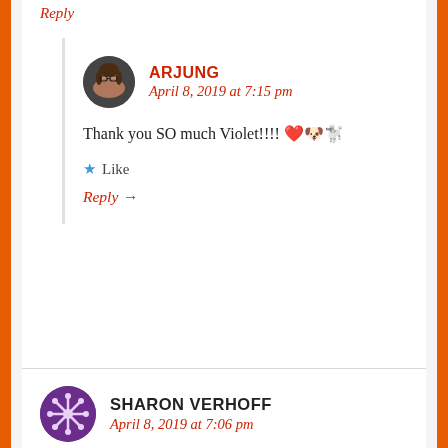Reply
ARJUNG
April 8, 2019 at 7:15 pm
Thank you SO much Violet!!!! ❤️🐶🐩
★ Like
Reply →
SHARON VERHOFF
April 8, 2019 at 7:06 pm
Of all of your writings that I have had the pleasure of reading, this is the most endearing. I have experienced "Rembrandt